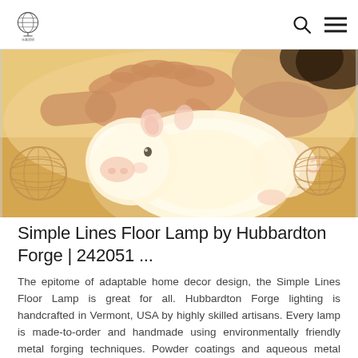Logo | Search | Menu navigation bar
[Figure (photo): A person's hand reaching toward a glowing white pig-shaped silicone night lamp sitting on a surface, with wicker ball decorations on either side. The lamp emits a warm yellow-white glow. A person's face is partially visible in the background.]
Simple Lines Floor Lamp by Hubbardton Forge | 242051 ...
The epitome of adaptable home decor design, the Simple Lines Floor Lamp is great for all. Hubbardton Forge lighting is handcrafted in Vermont, USA by highly skilled artisans. Every lamp is made-to-order and handmade using environmentally friendly metal forging techniques. Powder coatings and aqueous metal cleaning are used in the production of ...